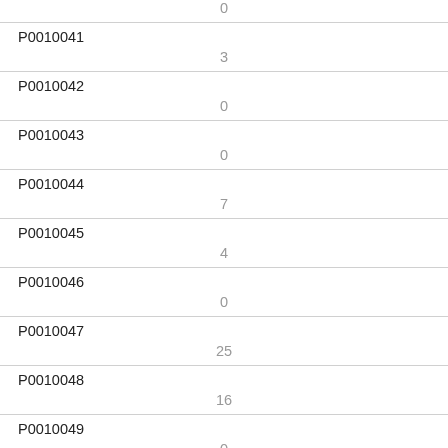| ID | Value |
| --- | --- |
|  | 0 |
| P0010041 | 3 |
| P0010042 | 0 |
| P0010043 | 0 |
| P0010044 | 7 |
| P0010045 | 4 |
| P0010046 | 0 |
| P0010047 | 25 |
| P0010048 | 16 |
| P0010049 | 0 |
| P0010050 | 6 |